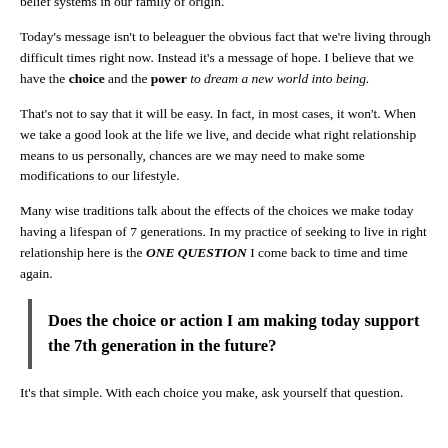belief systems in our family of origin.
Today's message isn't to beleaguer the obvious fact that we're living through difficult times right now. Instead it's a message of hope. I believe that we have the choice and the power to dream a new world into being.
That's not to say that it will be easy. In fact, in most cases, it won't. When we take a good look at the life we live, and decide what right relationship means to us personally, chances are we may need to make some modifications to our lifestyle.
Many wise traditions talk about the effects of the choices we make today having a lifespan of 7 generations. In my practice of seeking to live in right relationship here is the ONE QUESTION I come back to time and time again.
Does the choice or action I am making today support the 7th generation in the future?
It's that simple. With each choice you make, ask yourself that question.